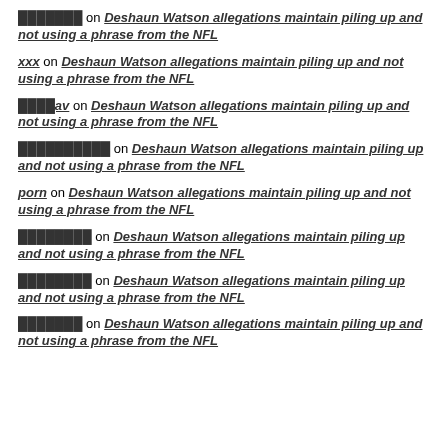░░░░░░░ on Deshaun Watson allegations maintain piling up and not using a phrase from the NFL
xxx on Deshaun Watson allegations maintain piling up and not using a phrase from the NFL
░░░av on Deshaun Watson allegations maintain piling up and not using a phrase from the NFL
░░░░░░░░░░ on Deshaun Watson allegations maintain piling up and not using a phrase from the NFL
porn on Deshaun Watson allegations maintain piling up and not using a phrase from the NFL
░░░░░░░░ on Deshaun Watson allegations maintain piling up and not using a phrase from the NFL
░░░░░░░░ on Deshaun Watson allegations maintain piling up and not using a phrase from the NFL
░░░░░░░ on Deshaun Watson allegations maintain piling up and not using a phrase from the NFL